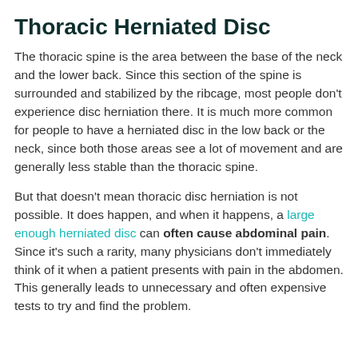Thoracic Herniated Disc
The thoracic spine is the area between the base of the neck and the lower back. Since this section of the spine is surrounded and stabilized by the ribcage, most people don't experience disc herniation there. It is much more common for people to have a herniated disc in the low back or the neck, since both those areas see a lot of movement and are generally less stable than the thoracic spine.
But that doesn't mean thoracic disc herniation is not possible. It does happen, and when it happens, a large enough herniated disc can often cause abdominal pain. Since it's such a rarity, many physicians don't immediately think of it when a patient presents with pain in the abdomen. This generally leads to unnecessary and often expensive tests to try and find the problem.